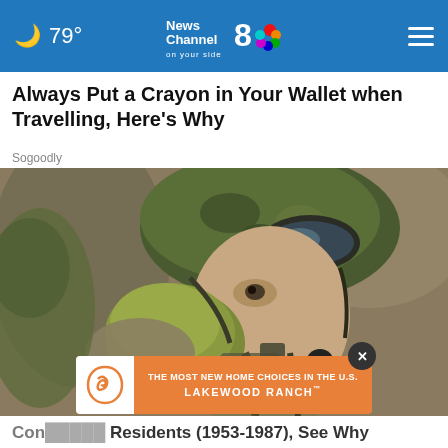79° News Channel 8 on your side
Always Put a Crayon in Your Wallet when Travelling, Here's Why
Sogoodly
[Figure (photo): Soldier in camouflage helmet and tactical gear drinking from a military canteen, close-up photo]
[Figure (infographic): Advertisement overlay: THE MOST NEW HOME CHOICES IN THE U.S. LAKEWOOD RANCH with logo]
Con... Residents (1953-1987), See Why